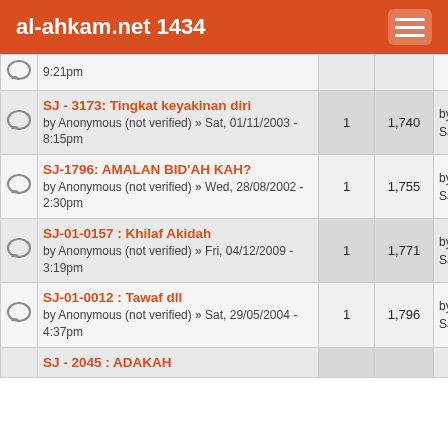al-ahkam.net 1434
| Topic | Replies | Views | Last post |
| --- | --- | --- | --- |
| SJ - 3173: Tingkat keyakinan diri
by Anonymous (not verified) » Sat, 01/11/2003 - 8:15pm | 1 | 1,740 | by thtl
Sat, 27/10/2012 - 7:02pm |
| SJ-1796: AMALAN BID'AH KAH?
by Anonymous (not verified) » Wed, 28/08/2002 - 2:30pm | 1 | 1,755 | by thtl
Sat, 27/10/2012 - 1:26pm |
| SJ-01-0157 : Khilaf Akidah
by Anonymous (not verified) » Fri, 04/12/2009 - 3:19pm | 1 | 1,771 | by kamin
Sat, 27/10/2012 - 2:48pm |
| SJ-01-0012 : Tawaf dll
by Anonymous (not verified) » Sat, 29/05/2004 - 4:37pm | 1 | 1,796 | by kamin
Sat, 27/10/2012 - 1:32pm |
| SJ - 2045 : ADAKAH |  |  |  |